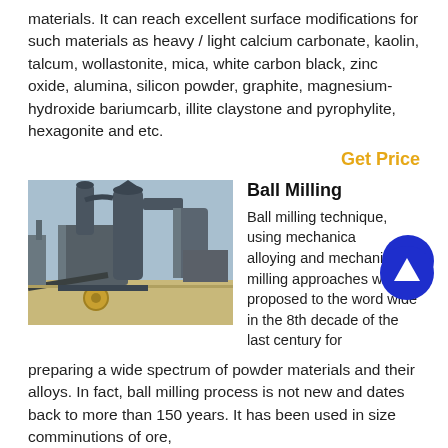materials. It can reach excellent surface modifications for such materials as heavy / light calcium carbonate, kaolin, talcum, wollastonite, mica, white carbon black, zinc oxide, alumina, silicon powder, graphite, magnesium-hydroxide bariumcarb, illite claystone and pyrophylite, hexagonite and etc.
Get Price
[Figure (photo): Industrial ball milling equipment / grinding plant with large cylindrical machinery, pipes, and dust collectors outdoors]
Ball Milling
Ball milling technique, using mechanical alloying and mechanical milling approaches were proposed to the word wide in the 8th decade of the last century for preparing a wide spectrum of powder materials and their alloys. In fact, ball milling process is not new and dates back to more than 150 years. It has been used in size comminutions of ore,